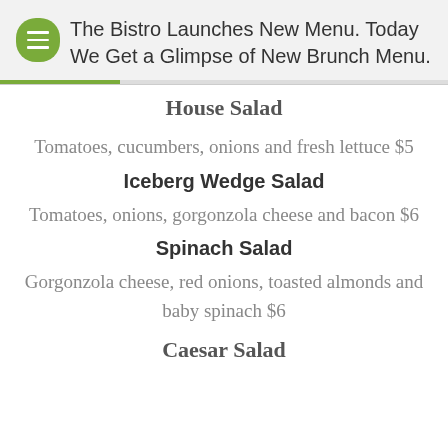The Bistro Launches New Menu. Today We Get a Glimpse of New Brunch Menu.
House Salad
Tomatoes, cucumbers, onions and fresh lettuce $5
Iceberg Wedge Salad
Tomatoes, onions, gorgonzola cheese and bacon $6
Spinach Salad
Gorgonzola cheese, red onions, toasted almonds and baby spinach $6
Caesar Salad